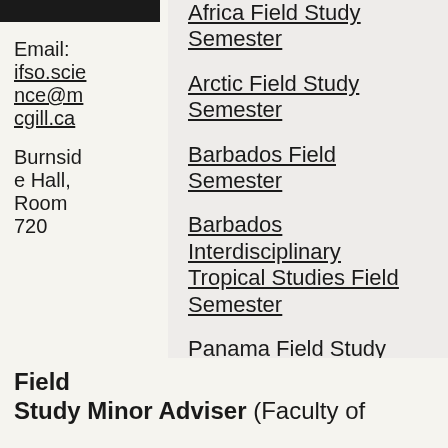Email: ifso.science@mcgill.ca
Burnside Hall, Room 720
Africa Field Study Semester
Arctic Field Study Semester
Barbados Field Semester
Barbados Interdisciplinary Tropical Studies Field Semester
Panama Field Study Semester
Field Study Minor Adviser (Faculty of